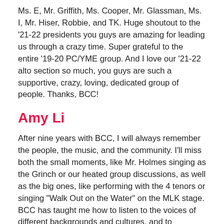Ms. E, Mr. Griffith, Ms. Cooper, Mr. Glassman, Ms. I, Mr. Hiser, Robbie, and TK. Huge shoutout to the '21-22 presidents you guys are amazing for leading us through a crazy time. Super grateful to the entire '19-20 PC/YME group. And I love our '21-22 alto section so much, you guys are such a supportive, crazy, loving, dedicated group of people. Thanks, BCC!
Amy Li
After nine years with BCC, I will always remember the people, the music, and the community. I'll miss both the small moments, like Mr. Holmes singing as the Grinch or our heated group discussions, as well as the big ones, like performing with the 4 tenors or singing "Walk Out on the Water" on the MLK stage. BCC has taught me how to listen to the voices of different backgrounds and cultures, and to embrace the diversity